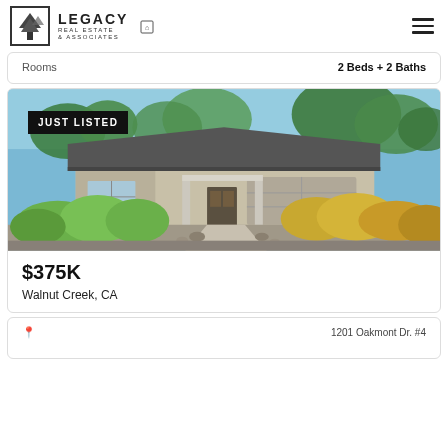Legacy Real Estate & Associates
Rooms   2 Beds + 2 Baths
[Figure (photo): Exterior photo of a single-story house with green landscaping, a concrete path, garage, and blue sky. Badge reads JUST LISTED.]
$375K
Walnut Creek, CA
1201 Oakmont Dr. #4